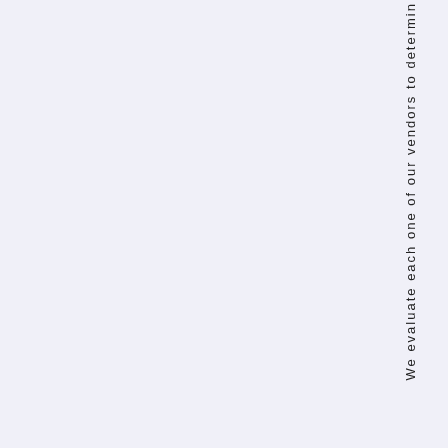We evaluate each one of our vendors to determin